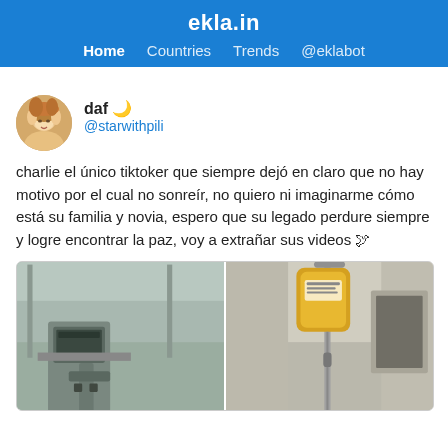ekla.in
Home  Countries  Trends  @eklabot
daf 🌙
@starwithpili
charlie el único tiktoker que siempre dejó en claro que no hay motivo por el cual no sonreír, no quiero ni imaginarme cómo está su familia y novia, espero que su legado perdure siempre y logre encontrar la paz, voy a extrañar sus videos 🕊
[Figure (photo): Two side-by-side photos: left shows medical/hospital equipment including what appears to be a monitor or device; right shows a medical IV drip bag (yellow/orange fluid) hanging on a pole in a hospital room.]